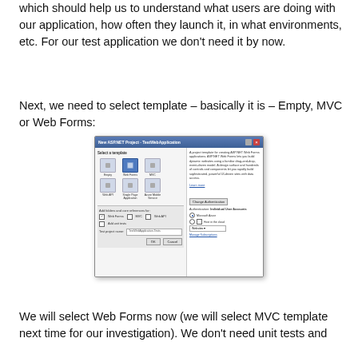which should help us to understand what users are doing with our application, how often they launch it, in what environments, etc. For our test application we don't need it by now.
Next, we need to select template – basically it is – Empty, MVC or Web Forms:
[Figure (screenshot): Visual Studio New ASP.NET Project dialog showing template selection (Empty, Web Forms selected, MVC, Web API, Single Page Application, Azure Mobile Service). Right panel shows Web Forms description, Change Authentication button, Individual User Accounts option, Microsoft Azure hosting options, and a test project name field.]
We will select Web Forms now (we will select MVC template next time for our investigation). We don't need unit tests and